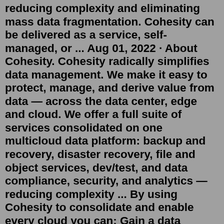reducing complexity and eliminating mass data fragmentation. Cohesity can be delivered as a service, self-managed, or ... Aug 01, 2022 · About Cohesity. Cohesity radically simplifies data management. We make it easy to protect, manage, and derive value from data — across the data center, edge and cloud. We offer a full suite of services consolidated on one multicloud data platform: backup and recovery, disaster recovery, file and object services, dev/test, and data compliance, security, and analytics — reducing complexity ... By using Cohesity to consolidate and enable every cloud you can: Gain a data management platform versus a variety of fragmented solutions. Harness a cost-effective software-defined solution for object-oriented access. Access your data throughout the lifecycle of that information, protecting it and providing analytics.The SmartFiles offering runs on Helios, which is Cohesity's next-gen data management platform that provides a range of comprehensive services including file and object storage, data protection, and more.